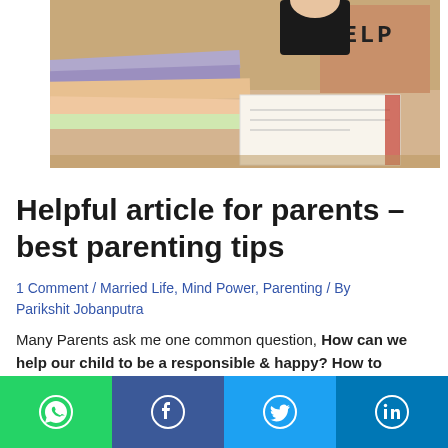[Figure (photo): Child at desk surrounded by books and papers, holding a cardboard sign that says HELP]
Helpful article for parents – best parenting tips
1 Comment / Married Life, Mind Power, Parenting / By Parikshit Jobanputra
Many Parents ask me one common question, How can we help our child to be a responsible & happy? How to reduce TV time? So Today i am sharing best parenting tips for the same. Hope this will help you !
I am an Author, Coach, Motivational Speaker & a Counsellor with 12 ye...hers & Co...llion
[Figure (infographic): Social media share bar with WhatsApp, Facebook, Twitter, LinkedIn buttons]